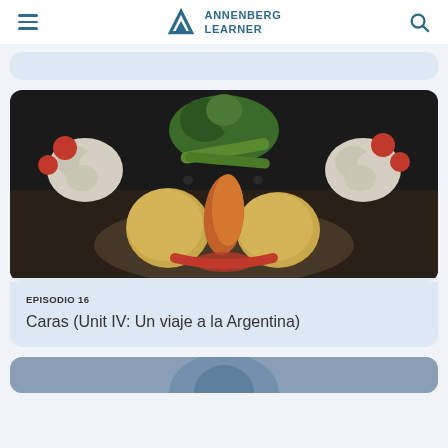Annenberg Learner
[Figure (screenshot): Partial card from Annenberg Learner website, light blue background]
[Figure (photo): A face made from vegetables: carrots, onions, broccoli, cauliflower, tomatoes, and peppers arranged to look like a human face on a dark background]
EPISODIO 16
Caras (Unit IV: Un viaje a la Argentina)
[Figure (photo): Partial card at bottom of page showing a person, partially cropped]